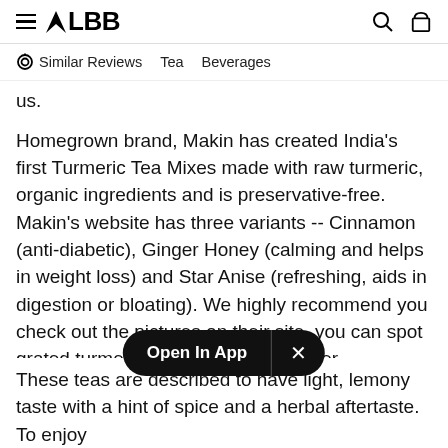LBB
Similar Reviews   Tea   Beverages
us.
Homegrown brand, Makin has created India's first Turmeric Tea Mixes made with raw turmeric, organic ingredients and is preservative-free. Makin's website has three variants -- Cinnamon (anti-diabetic), Ginger Honey (calming and helps in weight loss) and Star Anise (refreshing, aids in digestion or bloating). We highly recommend you check out the pictures on their site, you can spot grated turmeric together with the other ingredients. Looks like something straight out of mum's kitchen!
Open In App
These teas are described to have light, lemony taste with a hint of spice and a herbal aftertaste. To enjoy